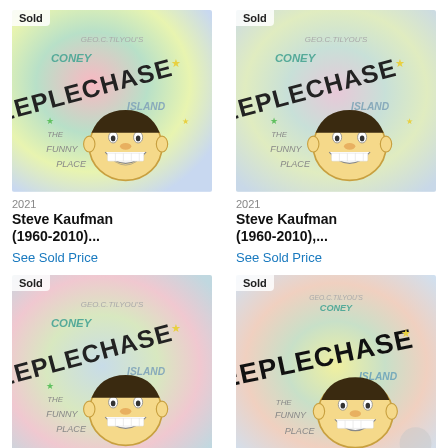[Figure (photo): Artwork listing: Steve Kaufman Steeplechase Coney Island painting with 'Sold' badge, top-left]
2021
Steve Kaufman (1960-2010)...
See Sold Price
[Figure (photo): Artwork listing: Steve Kaufman Steeplechase Coney Island painting with 'Sold' badge, top-right]
2021
Steve Kaufman (1960-2010),...
See Sold Price
[Figure (photo): Artwork listing: Steve Kaufman Steeplechase Coney Island painting with 'Sold' badge, bottom-left]
[Figure (photo): Artwork listing: Steve Kaufman Steeplechase Coney Island painting with 'Sold' badge, bottom-right]